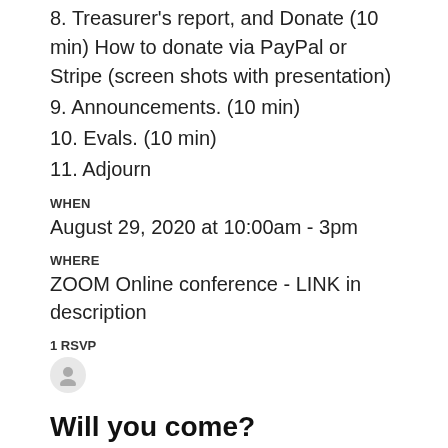8. Treasurer's report, and Donate (10 min) How to donate via PayPal or Stripe (screen shots with presentation)
9. Announcements. (10 min)
10. Evals. (10 min)
11. Adjourn
WHEN
August 29, 2020 at 10:00am - 3pm
WHERE
ZOOM Online conference - LINK in description
1 RSVP
Will you come?
First Name